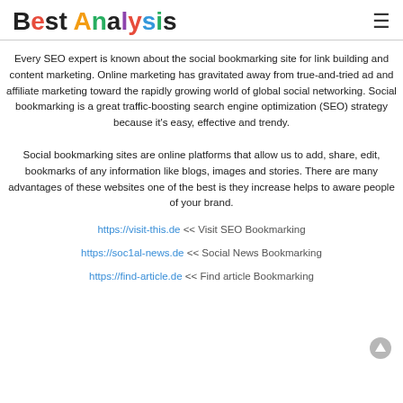Best Analysis
Every SEO expert is known about the social bookmarking site for link building and content marketing. Online marketing has gravitated away from true-and-tried ad and affiliate marketing toward the rapidly growing world of global social networking. Social bookmarking is a great traffic-boosting search engine optimization (SEO) strategy because it's easy, effective and trendy.
Social bookmarking sites are online platforms that allow us to add, share, edit, bookmarks of any information like blogs, images and stories. There are many advantages of these websites one of the best is they increase helps to aware people of your brand.
https://visit-this.de << Visit SEO Bookmarking
https://soc1al-news.de << Social News Bookmarking
https://find-article.de << Find article Bookmarking